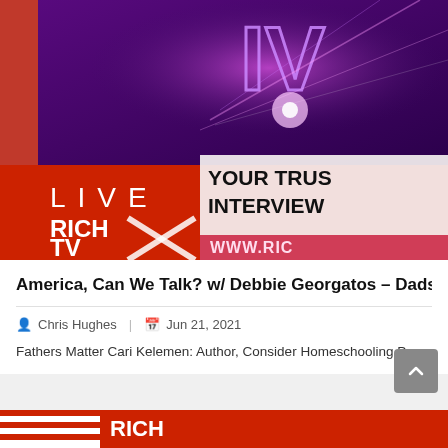[Figure (screenshot): Rich TV X live broadcast thumbnail showing 'LIVE' text, 'RICH TV X' logo, 'YOUR TRUS... INTERVIEW...' text and 'WWW.RIC...' url on a red and purple gradient background]
America, Can We Talk? w/ Debbie Georgatos – Dads M...
Chris Hughes  |  Jun 21, 2021
Fathers Matter Cari Kelemen: Author, Consider Homeschooling Pra...
[Figure (screenshot): Partial Rich TV X banner at the bottom with American flag and red background]